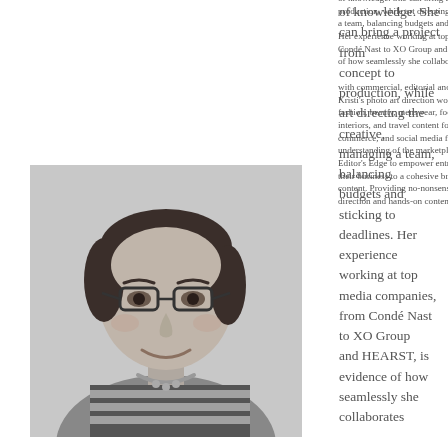[Figure (photo): Black and white portrait photo of a woman with short dark hair, glasses, wearing a striped top and necklace, smiling]
of knowledge. She can bring a project from concept to production, while art directing the creative, managing a team, balancing budgets and sticking to deadlines. Her experience working at top media companies, from Condé Nast to XO Group and HEARST, is evidence of how seamlessly she collaborates with commercial, editorial and emerging brands. Kristi's photo art direction work spans genres across fashion, beauty, menswear, food & beverage, lifestyle, interiors, and travel content for use in web, print, e-commerce, and social media formats. With her 360° understanding of the marketplace, Kristi founded Editor's Edge to empower entrepreneurs in elevating their business to a cohesive brand through digital content. Providing no-nonsense consulting, creative direction and hands-on content